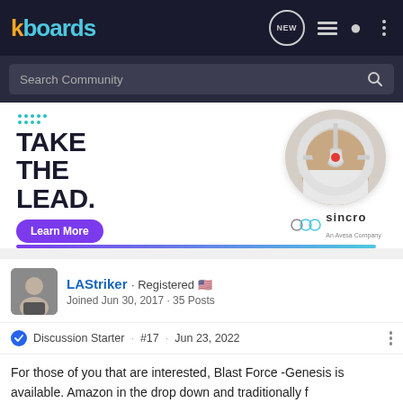kboards
Search Community
[Figure (screenshot): Advertisement banner for Sincro (An Avesa Company) with bold text 'TAKE THE LEAD.' and a 'Learn More' purple button, alongside an image of a person's hands on a car steering wheel. Teal and purple gradient bar at the bottom.]
LAStriker · Registered 🇺🇸 Joined Jun 30, 2017 · 35 Posts
Discussion Starter · #17 · Jun 23, 2022
For those of you that are interested, Blast Force -Genesis is available. Amazon in the drop down and traditionally f